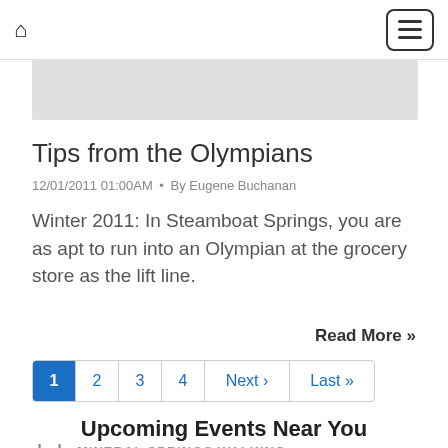Home | Menu
[Figure (screenshot): Gray banner area below navigation bar]
Tips from the Olympians
12/01/2011 01:00AM • By Eugene Buchanan
Winter 2011: In Steamboat Springs, you are as apt to run into an Olympian at the grocery store as the lift line.
Read More »
1 2 3 4 Next › Last »
Upcoming Events Near You
MINERAL SPRINGS WALKING